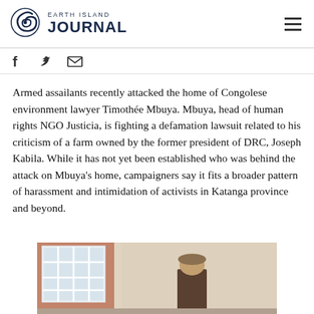Earth Island Journal
Armed assailants recently attacked the home of Congolese environment lawyer Timothée Mbuya. Mbuya, head of human rights NGO Justicia, is fighting a defamation lawsuit related to his criticism of a farm owned by the former president of DRC, Joseph Kabila. While it has not yet been established who was behind the attack on Mbuya's home, campaigners say it fits a broader pattern of harassment and intimidation of activists in Katanga province and beyond.
[Figure (photo): Person standing outside a building with white window grilles, pink/terracotta wall visible in background.]